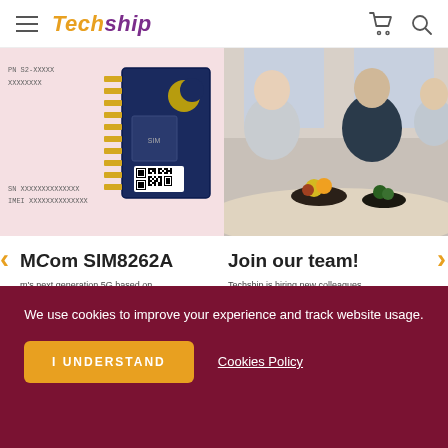Techship
[Figure (photo): PCB module with QR code on pink background showing PN S2-XXXXX XXXXXXXX and SN XXXXXXXXXXXXXX IMEI XXXXXXXXXXXXXX labels]
[Figure (photo): People sitting around a table with fruit bowls and phones, office setting]
MCom SIM8262A
Join our team!
m's next generation 5G based on m SDX62 for North America in M.2
Techship is hiring new colleagues continuous expansion. Read more a
We use cookies to improve your experience and track website usage.
I UNDERSTAND
Cookies Policy